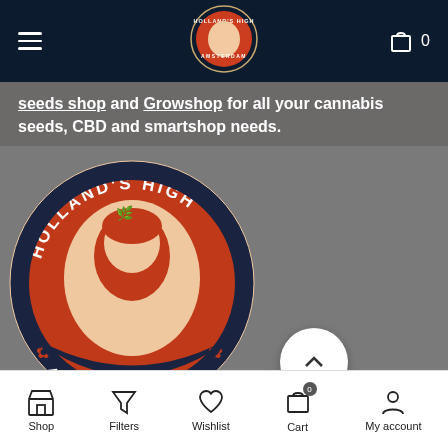Holland's High Amsterdam — navigation bar with hamburger menu, logo, and cart (0)
seeds shop and Growshop for all your cannabis seeds, CBD and smartshop needs.
[Figure (logo): Holland's High Amsterdam circular logo with woman figure, red and dark navy design]
Shop | Filters | Wishlist | Cart (0) | My account